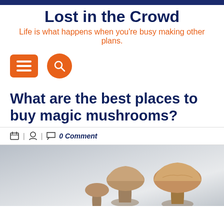Lost in the Crowd
Life is what happens when you're busy making other plans.
[Figure (other): Orange hamburger menu button (three horizontal lines) and orange circular search button with magnifying glass icon]
What are the best places to buy magic mushrooms?
0 Comment
[Figure (photo): Photo of several magic mushrooms (psilocybin mushrooms) on a light grey background, showing brown textured caps]